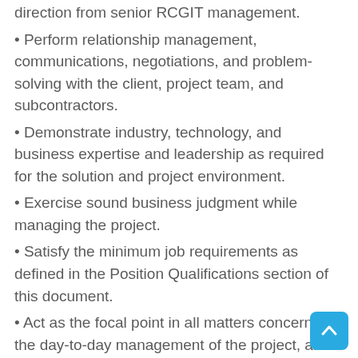direction from senior RCGIT management.
Perform relationship management, communications, negotiations, and problem-solving with the client, project team, and subcontractors.
Demonstrate industry, technology, and business expertise and leadership as required for the solution and project environment.
Exercise sound business judgment while managing the project.
Satisfy the minimum job requirements as defined in the Position Qualifications section of this document.
Act as the focal point in all matters concerning the day-to-day management of the project, and as the formal first-line management contract between the client, RCG IT, and the project team.